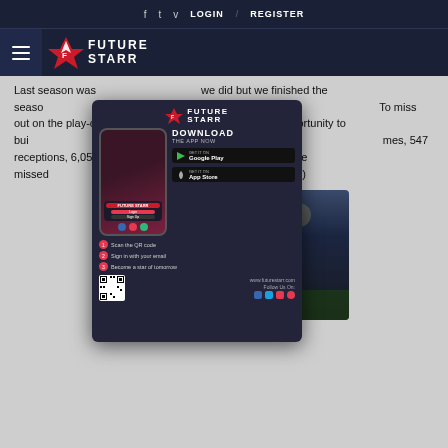f  t  v  LOGIN  /  REGISTER
[Figure (logo): Future Starr logo with hamburger menu on dark navy background]
Last season was [obscured by ad] we did but we finished the season [obscured] w gaffer, put a really good run off [obscured] To miss out on the play-offs was [obscured] d to have the opportunity to bui[obscured] t season. Watson finishes his caree[obscured] mes, 547 receptions, 6,058 [obscured] ver 16 years, though he missed [obscured] y. (Source: sportsspectrum.com)
[Figure (illustration): Future Starr app advertisement overlay showing a phone mockup with Download The App Now text, Google Play and App Store buttons, QR code, steps to scan, and website www.futurestarr.com]
[Figure (photo): Football player wearing number 84 jersey celebrating on field in dark stadium]